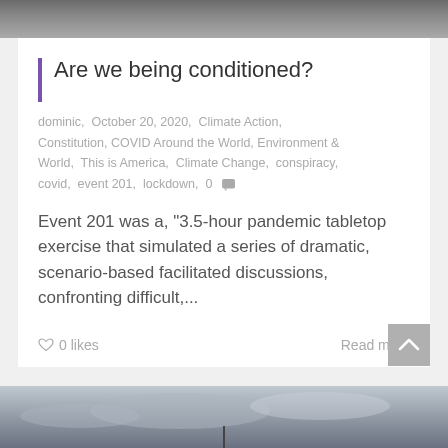[Figure (photo): Top portion of a photo, partially cropped]
Are we being conditioned?
dominic, October 20, 2020, Climate Action, Constitution, COVID Around the World, Environment & World, This is America, Climate Change, conspiracy, covid, event 201, lockdown, 0
Event 201 was a, "3.5-hour pandemic tabletop exercise that simulated a series of dramatic, scenario-based facilitated discussions, confronting difficult,...
0 likes
Read more
[Figure (photo): Bottom portion of a photo showing a dark landscape with clouds]